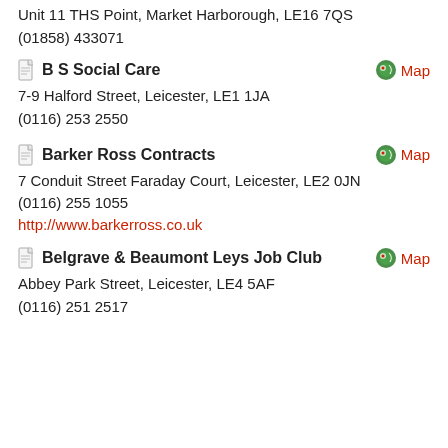Unit 11 THS Point, Market Harborough, LE16 7QS
(01858) 433071
B S Social Care
7-9 Halford Street, Leicester, LE1 1JA
(0116) 253 2550
Barker Ross Contracts
7 Conduit Street Faraday Court, Leicester, LE2 0JN
(0116) 255 1055
http://www.barkerross.co.uk
Belgrave & Beaumont Leys Job Club
Abbey Park Street, Leicester, LE4 5AF
(0116) 251 2517